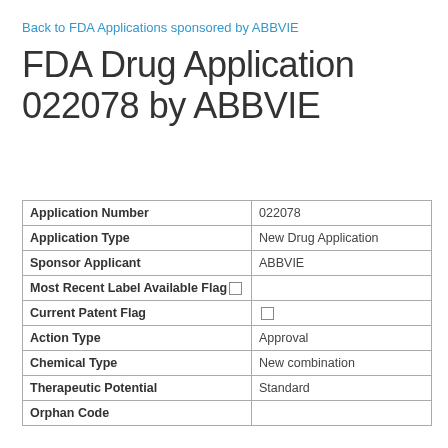Back to FDA Applications sponsored by ABBVIE
FDA Drug Application 022078 by ABBVIE
|  |  |
| --- | --- |
| Application Number | 022078 |
| Application Type | New Drug Application |
| Sponsor Applicant | ABBVIE |
| Most Recent Label Available Flag | ☐ |
| Current Patent Flag | ☐ |
| Action Type | Approval |
| Chemical Type | New combination |
| Therapeutic Potential | Standard |
| Orphan Code |  |